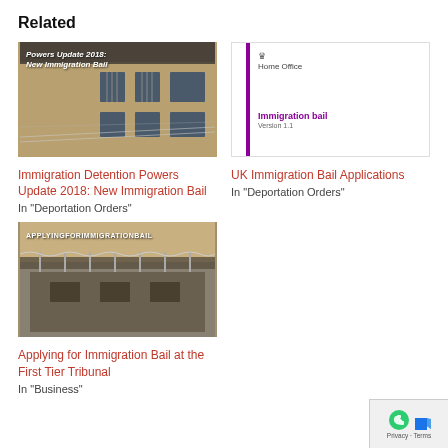Related
[Figure (photo): Photo of prison exterior with barbed wire fence. Overlay text reads 'Powers Update 2018: New Immigration Bail']
Immigration Detention Powers Update 2018: New Immigration Bail
In "Deportation Orders"
[Figure (illustration): Home Office document cover with purple vertical bar, crown logo, title 'Immigration bail' and 'Version 1.1']
UK Immigration Bail Applications
In "Deportation Orders"
[Figure (photo): Photo of prison building with fence and barbed wire. Overlay text reads 'APPLYINGFORIMMIGRATIONBAIL']
Applying for Immigration Bail at the First Tier Tribunal
In "Business"